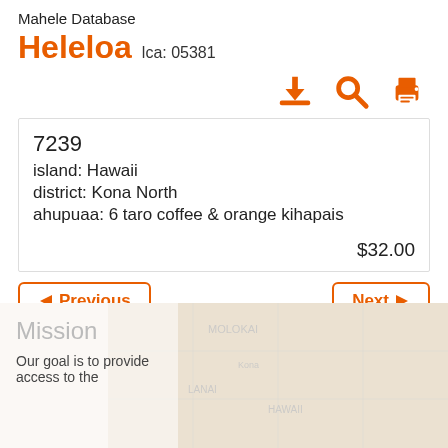Mahele Database
Heleloa  lca: 05381
7239
island: Hawaii
district: Kona North
ahupuaa: 6 taro coffee & orange kihapais
$32.00
Previous
Next
Displaying 1 thru 25 of 100 Records
Mission
Our goal is to provide access to the